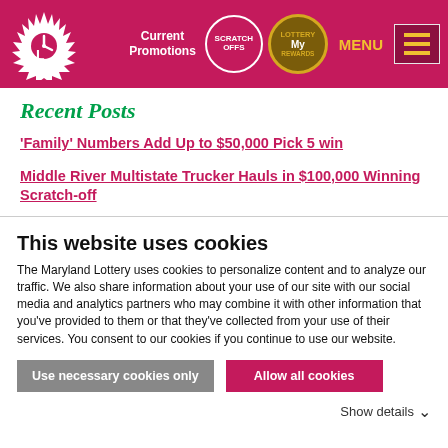Maryland Lottery - Current Promotions | Scratch Offs | My Rewards | MENU
Recent Posts
'Family' Numbers Add Up to $50,000 Pick 5 win
Middle River Multistate Trucker Hauls in $100,000 Winning Scratch-off
Excited Dad Surprises Wife at Work with News of $100,000 Lottery Win
FAST PLAY Win Provides Relief for Essex
This website uses cookies
The Maryland Lottery uses cookies to personalize content and to analyze our traffic. We also share information about your use of our site with our social media and analytics partners who may combine it with other information that you've provided to them or that they've collected from your use of their services. You consent to our cookies if you continue to use our website.
Use necessary cookies only | Allow all cookies
Show details